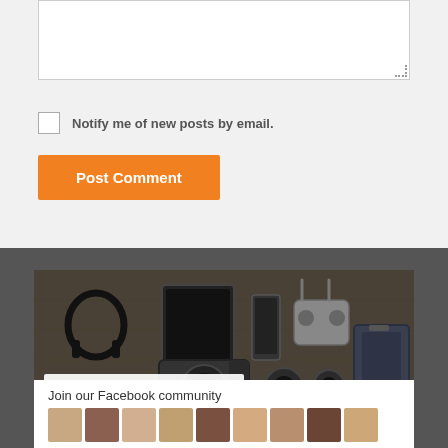[Figure (screenshot): Text area input box (empty) with resize handle in bottom-right corner]
Notify me of new posts by email.
Post Comment
[Figure (photo): Flat lay of camera and tech gear (headphones, tablet, camera, lenses, drone controller, bag) on wooden surface with Facebook 'Open facebook page now' overlay bar]
Join our Facebook community
[Figure (photo): Row of user avatar profile photos]